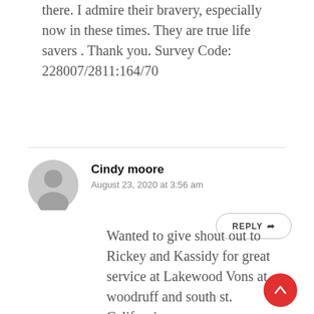there. I admire their bravery, especially now in these times. They are true life savers . Thank you. Survey Code: 228007/2811:164/70
REPLY
Cindy moore
August 23, 2020 at 3:56 am
Wanted to give shout out to Rickey and Kassidy for great service at Lakewood Vons at woodruff and south st. California